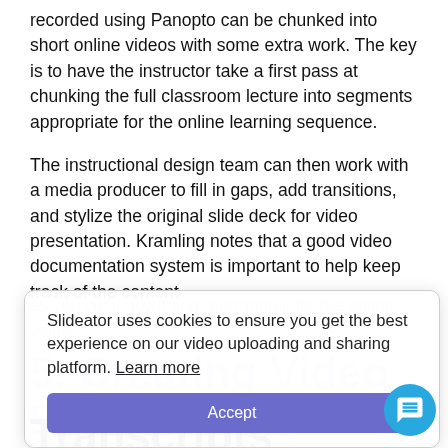recorded using Panopto can be chunked into short online videos with some extra work. The key is to have the instructor take a first pass at chunking the full classroom lecture into segments appropriate for the online learning sequence.
The instructional design team can then work with a media producer to fill in gaps, add transitions, and stylize the original slide deck for video presentation. Kramling notes that a good video documentation system is important to help keep track of the content
as you cut it down and rearrange it for the online vi...
5. Creating Video Scripts from Lecture Transcripts
[Figure (screenshot): Cookie consent popup overlay reading: 'Slideator uses cookies to ensure you get the best experience on our video uploading and sharing platform. Learn more' with an Accept button.]
[Figure (other): Blue circular chat/WhatsApp button in the bottom-right corner.]